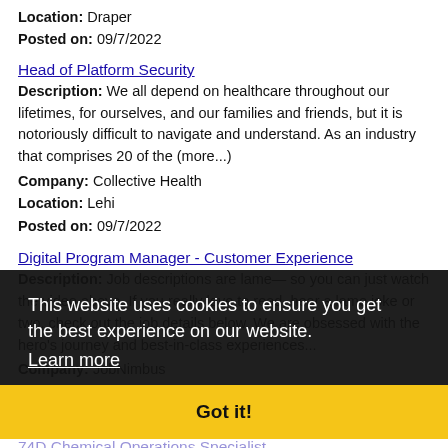Location: Draper
Posted on: 09/7/2022
Head of Platform Security
Description: We all depend on healthcare throughout our lifetimes, for ourselves, and our families and friends, but it is notoriously difficult to navigate and understand. As an industry that comprises 20 of the (more...)
Company: Collective Health
Location: Lehi
Posted on: 09/7/2022
Digital Program Manager - Customer Experience
Description: Job descriptions are lame— so you can just watch the video above. If you really love to read, hear a lame joke or two, check out the job details below. We are obsessed with the hero's journey and best-in-class experiences...
Company: JobNimbus
Location: Lehi
Posted on: 09/7/2022
74D Chemical Operations Specialist
Description: br br Job Description br br Join the frontlines to protect against some of the world's most powerful threats. As a
This website uses cookies to ensure you get the best experience on our website. Learn more Got it!